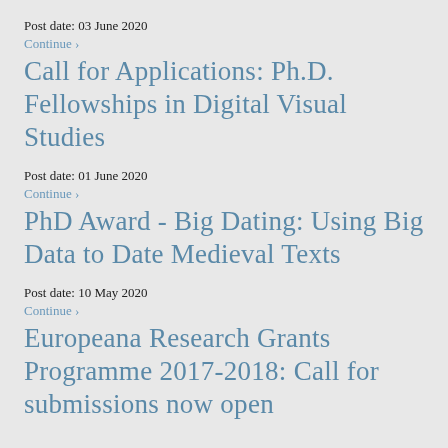Post date: 03 June 2020
Continue ›
Call for Applications: Ph.D. Fellowships in Digital Visual Studies
Post date: 01 June 2020
Continue ›
PhD Award - Big Dating: Using Big Data to Date Medieval Texts
Post date: 10 May 2020
Continue ›
Europeana Research Grants Programme 2017-2018: Call for submissions now open